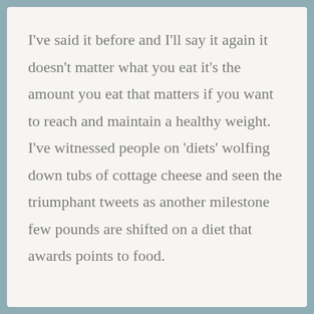I've said it before and I'll say it again it doesn't matter what you eat it's the amount you eat that matters if you want to reach and maintain a healthy weight.  I've witnessed people on 'diets' wolfing down tubs of cottage cheese and seen the triumphant tweets as another milestone few pounds are shifted on a diet that awards points to food.